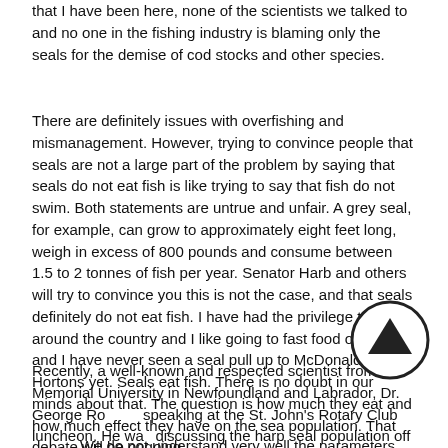that I have been here, none of the scientists we talked to and no one in the fishing industry is blaming only the seals for the demise of cod stocks and other species.
There are definitely issues with overfishing and mismanagement. However, trying to convince people that seals are not a large part of the problem by saying that seals do not eat fish is like trying to say that fish do not swim. Both statements are untrue and unfair. A grey seal, for example, can grow to approximately eight feet long, weigh in excess of 800 pounds and consume between 1.5 to 2 tonnes of fish per year. Senator Harb and others will try to convince you this is not the case, and that seals definitely do not eat fish. I have had the privilege to travel around the country and I like going to fast food outlets, and I have never seen a seal pull up to McDonalds or Tim Hortons yet. Seals eat fish. There is no doubt in our minds about that. The question is how much they eat and how much effect they have on the sea population. That debate will be ongoing.
Recently, a well-known and respected scientist from Memorial University in Newfoundland and Labrador, Dr. George Ro... speaking at the St. John's Rotary Club luncheon. He wa... discussing the harp seal population off Newfoundland an... Labrador. I want to quote some of what he said:
We do not understand very well the parameters...